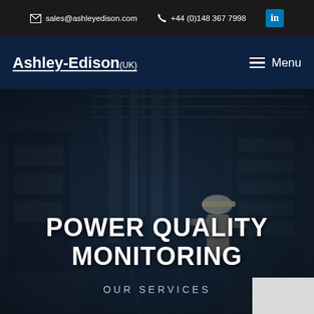sales@ashleyedison.com   +44 (0)148 367 7998
Ashley-Edison (UK)
[Figure (photo): Industrial electrical engineer in hard hat working inside a large electrical panel or switchgear room, viewed from a low angle, with overhead cable trays and structural elements visible. Dark blue-tinted overlay.]
POWER QUALITY MONITORING
OUR SERVICES